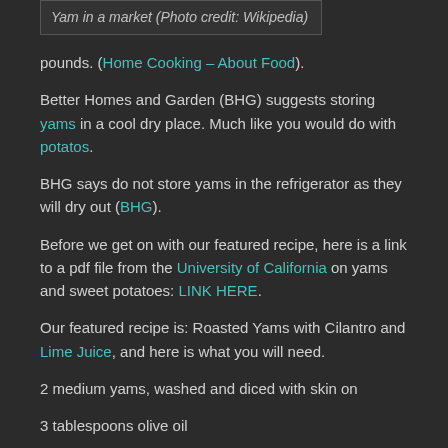Yam in a market (Photo credit: Wikipedia)
pounds. (Home Cooking – About Food).
Better Homes and Garden (BHG) suggests storing yams in a cool dry place. Much like you would do with potatos.
BHG says do not store yams in the refrigerator as they will dry out (BHG).
Before we get on with our featured recipe, here is a link to a pdf file from the University of California on yams and sweet potatoes: LINK HERE.
Our featured recipe is: Roasted Yams with Cilantro and Lime Juice, and here is what you will need.
2 medium yams, washed and diced with skin on
3 tablespoons olive oil